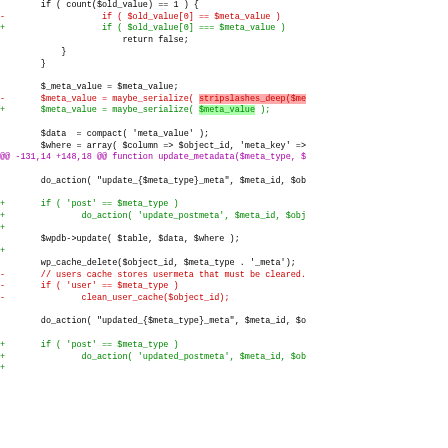[Figure (screenshot): Code diff screenshot showing PHP code with diff markers (- removed lines in red, + added lines in green, @@ diff header in purple). Shows changes to metadata handling functions including update_metadata with stripslashes_deep removal and user cache clearing removal.]